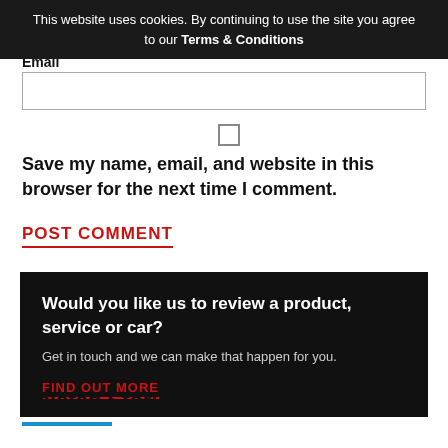This website uses cookies. By continuing to use the site you agree to our Terms & Conditions
Email
Save my name, email, and website in this browser for the next time I comment.
POST COMMENT
Would you like us to review a product, service or car? Get in touch and we can make that happen for you. FIND OUT MORE
Related Stories